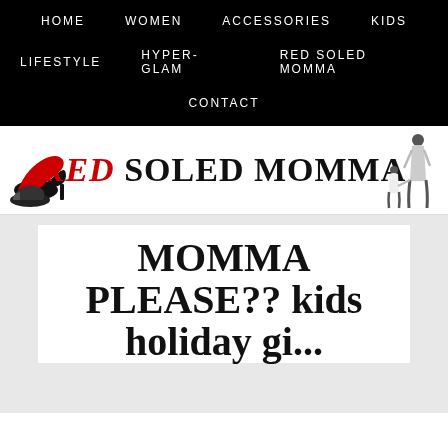HOME   WOMEN   ACCESSORIES   KIDS   LIFESTYLE   HYPER-GLAM   RED SOLED MOMMA   CONTACT
[Figure (logo): Red Soled Momma blog banner with red and black logo text, high heel shoes illustration on left, mother and child silhouette on right]
MOMMA PLEASE?? kids holiday gi...